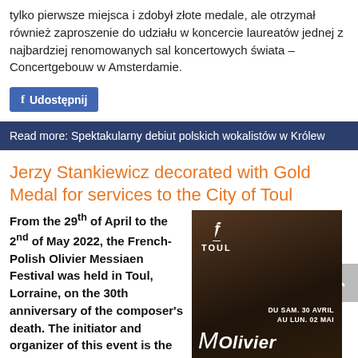tylko pierwsze miejsca i zdobył złote medale, ale otrzymał również zaproszenie do udziału w koncercie laureatów jednej z najbardziej renomowanych sal koncertowych świata – Concertgebouw w Amsterdamie.
Udostępnij
Read more: Spektakularny debiut polskich wokalistów w Królew
Jerzy Stankiewicz decorated with Gold Medal for services to the City of Toul
From the 29th of April to the 2nd of May 2022, the French-Polish Olivier Messiaen Festival was held in Toul, Lorraine, on the 30th anniversary of the composer's death. The initiator and organizer of this event is the musicologist Jerzy
[Figure (photo): Event poster for the Olivier Messiaen Festival in Toul, showing a man in dark clothing with the Toul city logo and text 'DU SAM. 30 AVRIL AU LUN. 02 MAI' and 'Olivier']